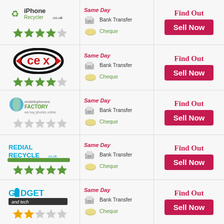[Figure (infographic): iPhone Recycler logo with green recycle icon, 4 out of 5 green stars rating, payment options (Same Day, Bank Transfer, Cheque), Find Out and Sell Now buttons]
[Figure (infographic): CeX logo (black and red circular logo), 4 out of 5 green stars rating, payment options (Same Day, Bank Transfer, Cheque), Find Out and Sell Now buttons]
[Figure (infographic): Mobile Phones Factory logo, no stars (gray empty stars), payment options (Same Day, Bank Transfer, Cheque), Find Out and Sell Now buttons]
[Figure (infographic): Redial Recycle logo with 5 green stars rating, payment options (Same Day, Bank Transfer, Cheque), Find Out and Sell Now buttons]
[Figure (infographic): Gidget and Tech logo with 2 out of 5 gold stars rating, payment options (Same Day, Bank Transfer, Cheque), Find Out and Sell Now buttons]